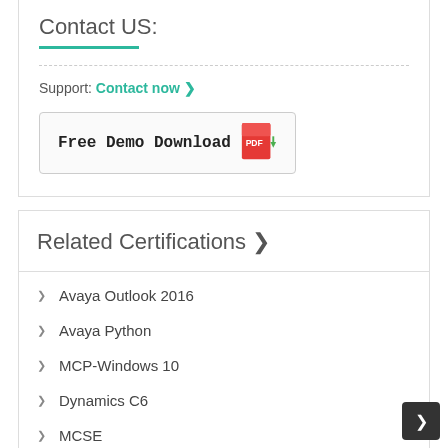Contact US:
Support: Contact now ❯
[Figure (other): Free Demo Download button with PDF icon]
Related Certifications ❯
Avaya Outlook 2016
Avaya Python
MCP-Windows 10
Dynamics C6
MCSE
More ...